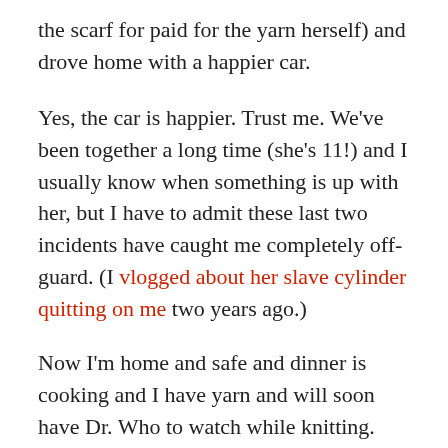the scarf for paid for the yarn herself) and drove home with a happier car.
Yes, the car is happier. Trust me. We’ve been together a long time (she’s 11!) and I usually know when something is up with her, but I have to admit these last two incidents have caught me completely off-guard. (I vlogged about her slave cylinder quitting on me two years ago.)
Now I’m home and safe and dinner is cooking and I have yarn and will soon have Dr. Who to watch while knitting.
An interesting, unexpected day, but that’s life, isn’t